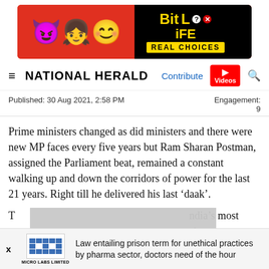[Figure (illustration): Advertisement banner for BitLife: Real Choices game/app with colorful cartoon characters on red background and black panel with golden BitLife text and REAL CHOICES subtitle]
≡ NATIONAL HERALD | Contribute | Videos | 🔍
Published: 30 Aug 2021, 2:58 PM
Engagement: 9
Prime ministers changed as did ministers and there were new MP faces every five years but Ram Sharan Postman, assigned the Parliament beat, remained a constant walking up and down the corridors of power for the last 21 years. Right till he delivered his last 'daak'.
T[obscured]ndia's most po[obscured]ent, he says, to[obscured]ithout a
Law entailing prison term for unethical practices by pharma sector, doctors need of the hour